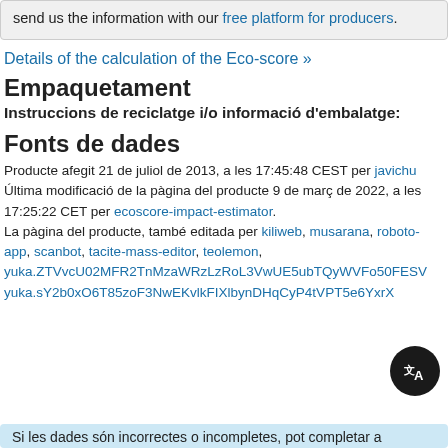If you are the manufacturer of this product, you can send us the information with our free platform for producers.
Details of the calculation of the Eco-score »
Empaquetament
Instruccions de reciclatge i/o informació d'embalatge:
Fonts de dades
Producte afegit 21 de juliol de 2013, a les 17:45:48 CEST per javichu Última modificació de la pàgina del producte 9 de març de 2022, a les 17:25:22 CET per ecoscore-impact-estimator. La pàgina del producte, també editada per kiliweb, musarana, roboto-app, scanbot, tacite-mass-editor, teolemon, yuka.ZTVvcU02MFR2TnMzaWRzLzRoL3VwUE5ubTQyWVFo...0FESV... yuka.sY2b0xO6T85zoF3NwEKvlkFIXlbynDHqCyP4tVPT5e6...YxrX...
Si les dades són incorrectes o incompletes, pot completar a...